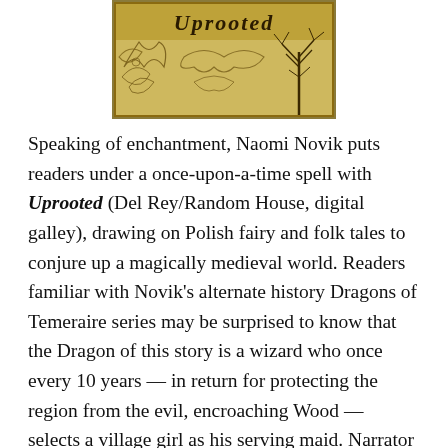[Figure (illustration): Book cover of 'Uprooted' by Naomi Novik — a golden-yellow illuminated manuscript style cover with ornate scrollwork, floral decorations, and a bare tree silhouette in the upper right corner. Gothic-style lettering partially visible at the top.]
Speaking of enchantment, Naomi Novik puts readers under a once-upon-a-time spell with Uprooted (Del Rey/Random House, digital galley), drawing on Polish fairy and folk tales to conjure up a magically medieval world. Readers familiar with Novik's alternate history Dragons of Temeraire series may be surprised to know that the Dragon of this story is a wizard who once every 10 years — in return for protecting the region from the evil, encroaching Wood — selects a village girl as his serving maid. Narrator Agnieszka, plain and pragmatic, is surprised when she's picked to accompany the enigmatic Dragon to his isolated tower. Left to her own devices and longing for home,